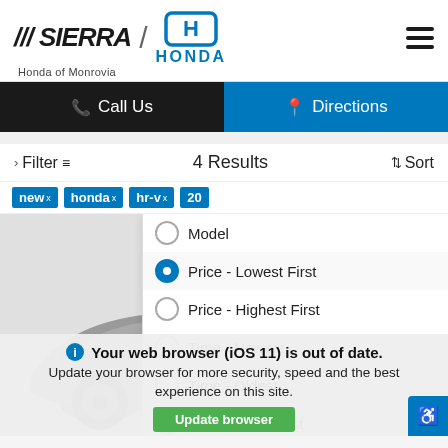[Figure (logo): Sierra Honda of Monrovia logo with Honda wing logo]
Call Us
Directions
Filter   4 Results   Sort
new x
honda x
hr-v x
20...
[Figure (photo): Partial view of a Honda HR-V vehicle in grey]
Model
Price - Lowest First
Price - Highest First
Time - Newest
Time - Oldest
Year - Oldest first
Year - Newest first
Mileage - Lowest first
Your web browser (iOS 11) is out of date. Update your browser for more security, speed and the best experience on this site.
Update browser